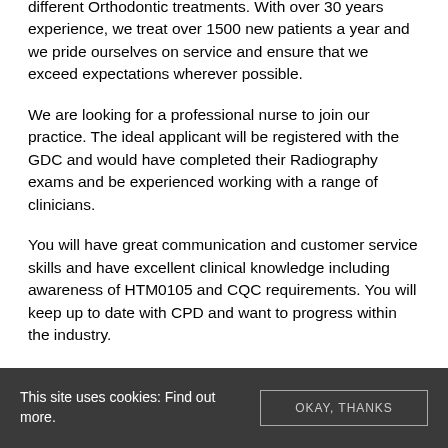different Orthodontic treatments. With over 30 years experience, we treat over 1500 new patients a year and we pride ourselves on service and ensure that we exceed expectations wherever possible.
We are looking for a professional nurse to join our practice. The ideal applicant will be registered with the GDC and would have completed their Radiography exams and be experienced working with a range of clinicians.
You will have great communication and customer service skills and have excellent clinical knowledge including awareness of HTM0105 and CQC requirements. You will keep up to date with CPD and want to progress within the industry.
Key responsibilities will include:
This site uses cookies: Find out more.